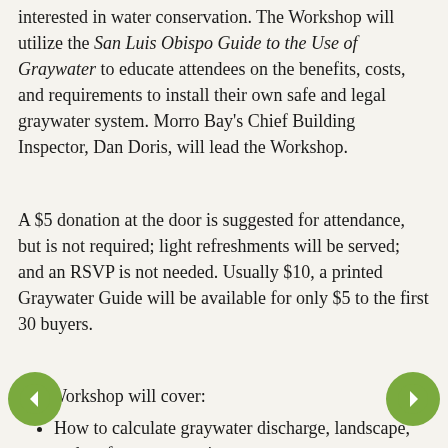interested in water conservation. The Workshop will utilize the San Luis Obispo Guide to the Use of Graywater to educate attendees on the benefits, costs, and requirements to install their own safe and legal graywater system. Morro Bay's Chief Building Inspector, Dan Doris, will lead the Workshop.
A $5 donation at the door is suggested for attendance, but is not required; light refreshments will be served; and an RSVP is not needed. Usually $10, a printed Graywater Guide will be available for only $5 to the first 30 buyers.
The Workshop will cover:
How to calculate graywater discharge, landscape, and surface area requirements
Plumbing techniques, materials, and discharge options
Do's and Don't of graywater systems